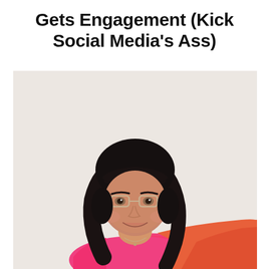Gets Engagement (Kick Social Media's Ass)
[Figure (photo): Portrait photo of a smiling woman with dark hair and blunt bangs, wearing glasses and gold hoop earrings, dressed in a pink and orange color-block top, against a light beige/white background.]